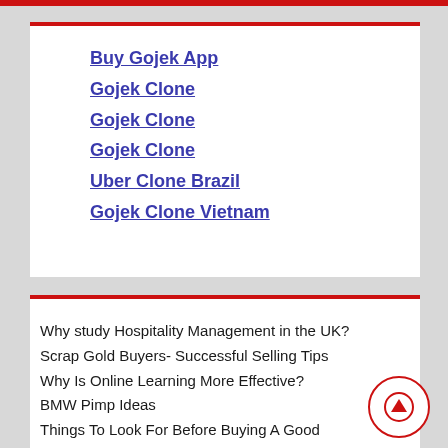Buy Gojek App
Gojek Clone
Gojek Clone
Gojek Clone
Uber Clone Brazil
Gojek Clone Vietnam
Why study Hospitality Management in the UK?
Scrap Gold Buyers- Successful Selling Tips
Why Is Online Learning More Effective?
BMW Pimp Ideas
Things To Look For Before Buying A Good Tractor
Choosing the Right Digital Learning Course for